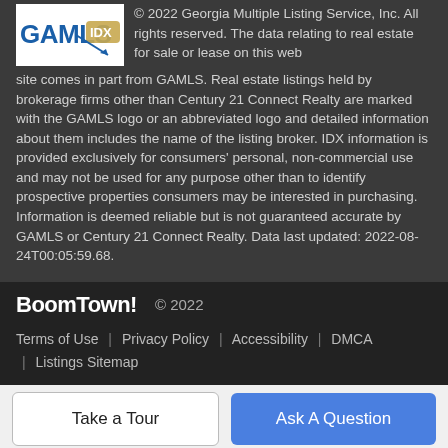[Figure (logo): GAMLS IDX logo — white background with blue GAMLS text and IDX badge with arrow]
© 2022 Georgia Multiple Listing Service, Inc. All rights reserved. The data relating to real estate for sale or lease on this web site comes in part from GAMLS. Real estate listings held by brokerage firms other than Century 21 Connect Realty are marked with the GAMLS logo or an abbreviated logo and detailed information about them includes the name of the listing broker. IDX information is provided exclusively for consumers' personal, non-commercial use and may not be used for any purpose other than to identify prospective properties consumers may be interested in purchasing. Information is deemed reliable but is not guaranteed accurate by GAMLS or Century 21 Connect Realty. Data last updated: 2022-08-24T00:05:59.68.
BoomTown! © 2022
Terms of Use | Privacy Policy | Accessibility | DMCA | Listings Sitemap
Take a Tour
Ask A Question